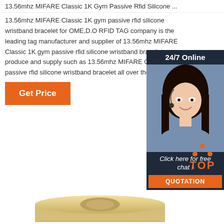13.56mhz MIFARE Classic 1K Gym Passive Rfid Silicone ...
13.56mhz MIFARE Classic 1K gym passive rfid silicone wristband bracelet for OME,D.O RFID TAG company is the leading tag manufacturer and supplier of 13.56mhz MIFARE Classic 1K gym passive rfid silicone wristband bracelet,we produce and supply such as 13.56mhz MIFARE Classic 1K gym passive rfid silicone wristband bracelet all over the world.
[Figure (other): 24/7 Online chat widget with customer service representative photo, 'Click here for free chat!' text, and orange QUOTATION button]
[Figure (other): Orange TOP button with dots above and orange text 'TOP']
[Figure (other): Tan/beige roll of RFID wristband tape at the bottom of the page]